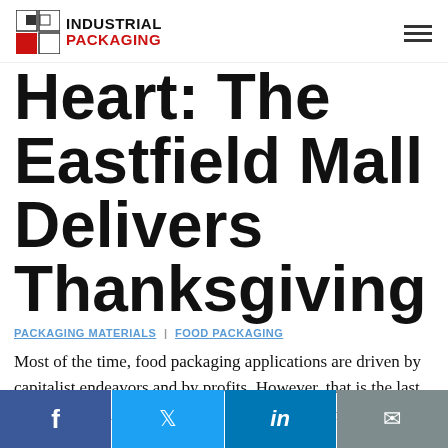INDUSTRIAL PACKAGING
Heart: The Eastfield Mall Delivers Thanksgiving
PACKAGING MATERIALS | FOOD PACKAGING
Most of the time, food packaging applications are driven by capitalist endeavors and by profits. However, that is the last thing that comes to mind when reading this heart-warming